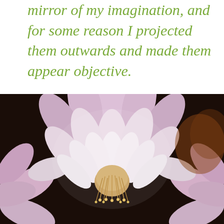mirror of my imagination, and for some reason I projected them outwards and made them appear objective.
[Figure (photo): Close-up photograph of a large white and pale pink flower, likely a cactus flower or dahlia, with multiple layers of petals and visible stamens at the center, against a dark background.]